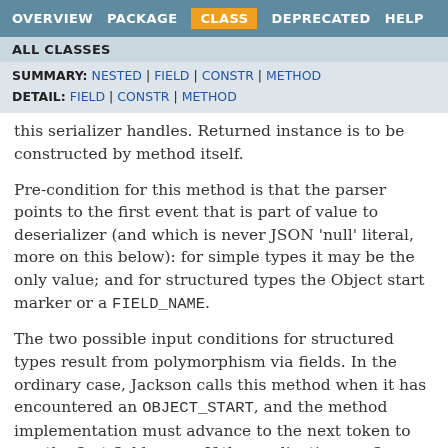OVERVIEW  PACKAGE  CLASS  DEPRECATED  HELP
ALL CLASSES
SUMMARY: NESTED | FIELD | CONSTR | METHOD  DETAIL: FIELD | CONSTR | METHOD
this serializer handles. Returned instance is to be constructed by method itself.
Pre-condition for this method is that the parser points to the first event that is part of value to deserializer (and which is never JSON 'null' literal, more on this below): for simple types it may be the only value; and for structured types the Object start marker or a FIELD_NAME.
The two possible input conditions for structured types result from polymorphism via fields. In the ordinary case, Jackson calls this method when it has encountered an OBJECT_START, and the method implementation must advance to the next token to see the first field name. If the application configures polymorphism via a field, then the object looks like the following.